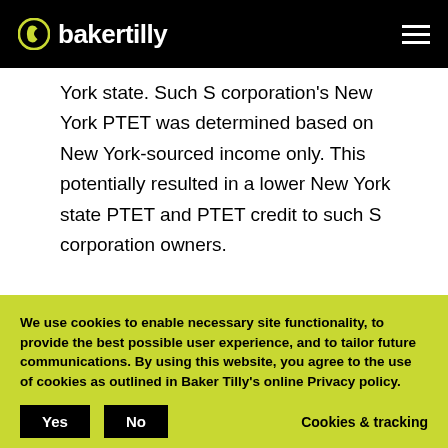bakertilly
York state. Such S corporation's New York PTET was determined based on New York-sourced income only. This potentially resulted in a lower New York state PTET and PTET credit to such S corporation owners.
Therefore, the New York state PTET election to
We use cookies to enable necessary site functionality, to provide the best possible user experience, and to tailor future communications. By using this website, you agree to the use of cookies as outlined in Baker Tilly's online Privacy policy.
It should be noted that this was a significant